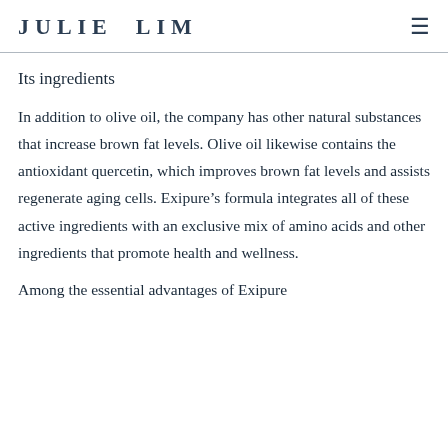JULIE LIM
Its ingredients
In addition to olive oil, the company has other natural substances that increase brown fat levels. Olive oil likewise contains the antioxidant quercetin, which improves brown fat levels and assists regenerate aging cells. Exipure’s formula integrates all of these active ingredients with an exclusive mix of amino acids and other ingredients that promote health and wellness.
Among the essential advantages of Exipure